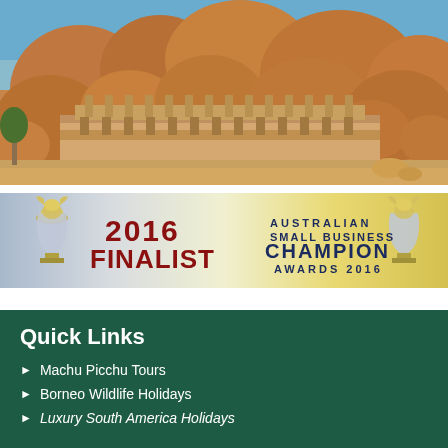[Figure (photo): Photograph of ancient stone temple ruins with large orange/red granite boulders in the background, resembling Hampi ruins in India. Two-story colonnaded structure visible against rocky hillside under blue sky.]
[Figure (infographic): 2016 Finalist banner for Australian Small Business Champion Awards 2016. Yellow and silver gradient background with trophy figures on left and right. '2016 FINALIST' in large dark red text on left, 'AUSTRALIAN SMALL BUSINESS CHAMPION AWARDS 2016' in dark navy text on right.]
Quick Links
Machu Picchu Tours
Borneo Wildlife Holidays
Luxury South America Holidays